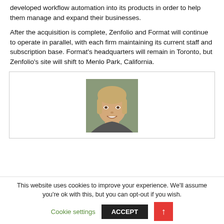developed workflow automation into its products in order to help them manage and expand their businesses.
After the acquisition is complete, Zenfolio and Format will continue to operate in parallel, with each firm maintaining its current staff and subscription base. Format's headquarters will remain in Toronto, but Zenfolio's site will shift to Menlo Park, California.
[Figure (photo): Headshot of a woman with blonde hair and bangs, smiling, in a professional photo]
This website uses cookies to improve your experience. We'll assume you're ok with this, but you can opt-out if you wish.